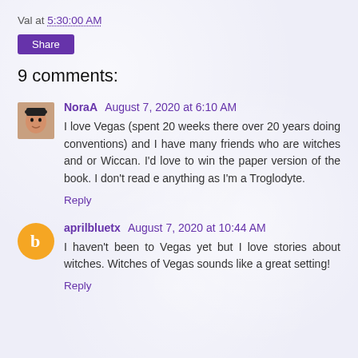Val at 5:30:00 AM
Share
9 comments:
NoraA  August 7, 2020 at 6:10 AM
I love Vegas (spent 20 weeks there over 20 years doing conventions) and I have many friends who are witches and or Wiccan. I'd love to win the paper version of the book. I don't read e anything as I'm a Troglodyte.
Reply
aprilbluetx  August 7, 2020 at 10:44 AM
I haven't been to Vegas yet but I love stories about witches. Witches of Vegas sounds like a great setting!
Reply